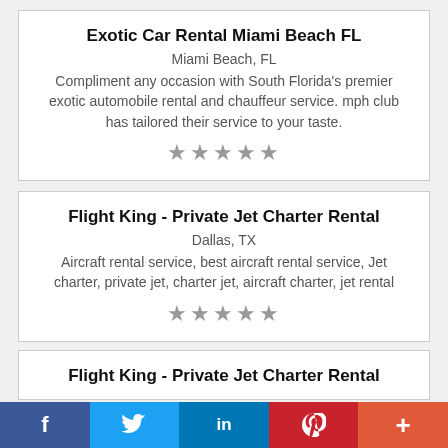Exotic Car Rental Miami Beach FL
Miami Beach, FL
Compliment any occasion with South Florida's premier exotic automobile rental and chauffeur service. mph club has tailored their service to your taste.
[Figure (other): Five grey star rating icons]
Flight King - Private Jet Charter Rental
Dallas, TX
Aircraft rental service, best aircraft rental service, Jet charter, private jet, charter jet, aircraft charter, jet rental
[Figure (other): Five grey star rating icons]
Flight King - Private Jet Charter Rental
[Figure (other): Social share bar with Facebook, Twitter, LinkedIn, Pinterest, and More buttons]